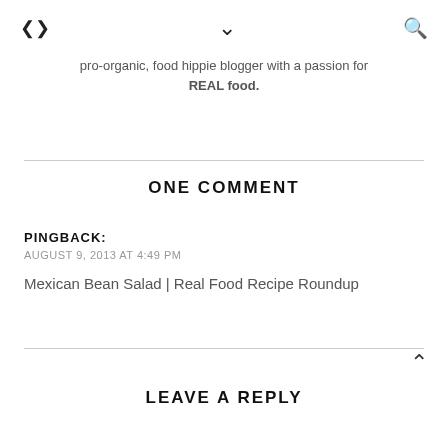< ∨ 🔍
pro-organic, food hippie blogger with a passion for REAL food.
ONE COMMENT
PINGBACK:
AUGUST 9, 2013 AT 4:49 PM
Mexican Bean Salad | Real Food Recipe Roundup
LEAVE A REPLY